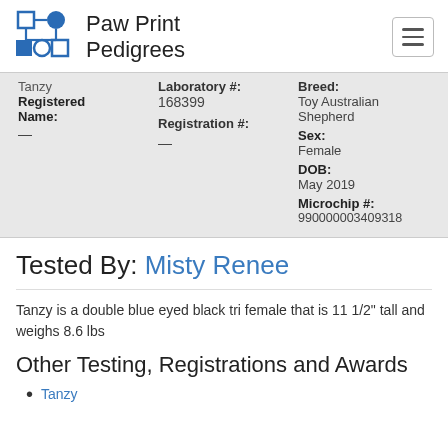Paw Print Pedigrees
| Name | Laboratory # | Breed |
| --- | --- | --- |
| Tanzy | 168399 | Toy Australian Shepherd |
| Registered Name: | Registration #: | Sex: |
| — | — | Female |
|  |  | DOB: |
|  |  | May 2019 |
|  |  | Microchip #: |
|  |  | 990000003409318 |
Tested By: Misty Renee
Tanzy is a double blue eyed black tri female that is 11 1/2" tall and weighs 8.6 lbs
Other Testing, Registrations and Awards
Tanzy